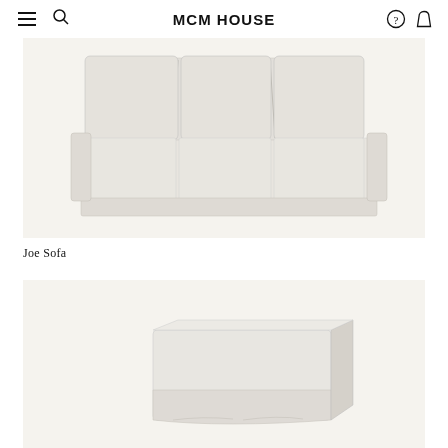MCM HOUSE
[Figure (photo): White three-seater sofa with loose cushions and slipcover style upholstery on a cream background]
Joe Sofa
[Figure (photo): White upholstered ottoman or footstool partially visible on cream background]